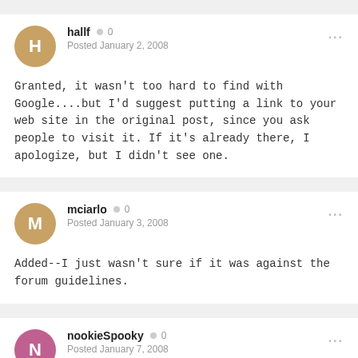hallf  0  Posted January 2, 2008

Granted, it wasn't too hard to find with Google....but I'd suggest putting a link to your web site in the original post, since you ask people to visit it. If it's already there, I apologize, but I didn't see one.
mciarlo  0  Posted January 3, 2008

Added--I just wasn't sure if it was against the forum guidelines.
nookieSpooky  0  Posted January 7, 2008